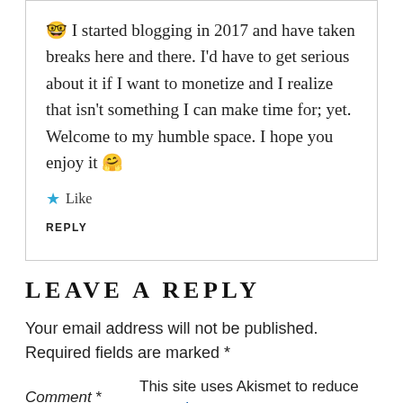🤓 I started blogging in 2017 and have taken breaks here and there. I'd have to get serious about it if I want to monetize and I realize that isn't something I can make time for; yet. Welcome to my humble space. I hope you enjoy it 🤗
★ Like
REPLY
LEAVE A REPLY
Your email address will not be published. Required fields are marked *
This site uses Akismet to reduce spam. Learn
Comment *